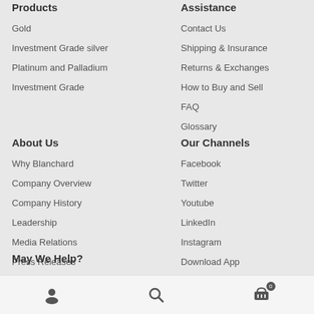Products
Gold
Investment Grade silver
Platinum and Palladium
Investment Grade
Assistance
Contact Us
Shipping & Insurance
Returns & Exchanges
How to Buy and Sell
FAQ
Glossary
About Us
Why Blanchard
Company Overview
Company History
Leadership
Media Relations
Press Releases
Our Channels
Facebook
Twitter
Youtube
LinkedIn
Instagram
Download App
May We Help?
User icon | Search icon | Cart icon (0)